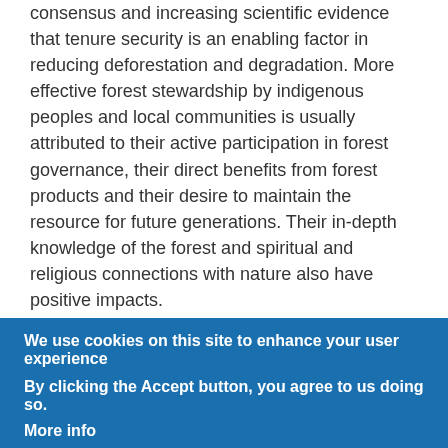consensus and increasing scientific evidence that tenure security is an enabling factor in reducing deforestation and degradation. More effective forest stewardship by indigenous peoples and local communities is usually attributed to their active participation in forest governance, their direct benefits from forest products and their desire to maintain the resource for future generations. Their in-depth knowledge of the forest and spiritual and religious connections with nature also have positive impacts.
2. Investing in recognition of collective tenure rights is cost-effective. Recent studies have analysed the cost-effectiveness of financing secure collective tenure rights compared with
We use cookies on this site to enhance your user experience
By clicking the Accept button, you agree to us doing so.
More info